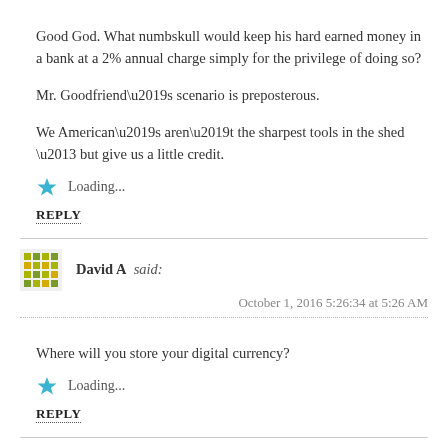Good God. What numbskull would keep his hard earned money in a bank at a 2% annual charge simply for the privilege of doing so?
Mr. Goodfriend’s scenario is preposterous.
We American’s aren’t the sharpest tools in the shed – but give us a little credit.
Loading...
REPLY
David A said:
October 1, 2016 5:26:34 at 5:26 AM
Where will you store your digital currency?
Loading...
REPLY
LFOldTimer said: